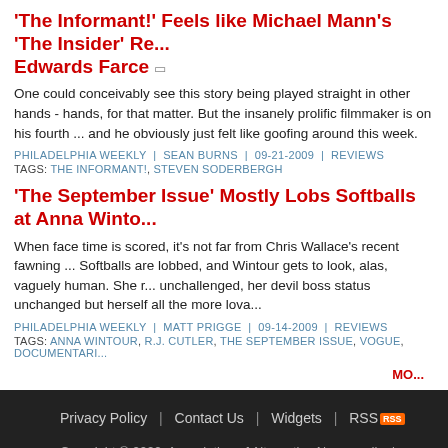'The Informant!' Feels like Michael Mann's 'The Insider' Re... Edwards Farce
One could conceivably see this story being played straight in other hands - hands, for that matter. But the insanely prolific filmmaker is on his fourth ... and he obviously just felt like goofing around this week.
PHILADELPHIA WEEKLY | SEAN BURNS | 09-21-2009 | REVIEWS
TAGS: THE INFORMANT!, STEVEN SODERBERGH
'The September Issue' Mostly Lobs Softballs at Anna Winto...
When face time is scored, it's not far from Chris Wallace's recent fawning ... Softballs are lobbed, and Wintour gets to look, alas, vaguely human. She r... unchallenged, her devil boss status unchanged but herself all the more lova...
PHILADELPHIA WEEKLY | MATT PRIGGE | 09-14-2009 | REVIEWS
TAGS: ANNA WINTOUR, R.J. CUTLER, THE SEPTEMBER ISSUE, VOGUE, DOCUMENTARI...
MO...
Privacy Policy | Contact Us | Widgets | RSS
Copyright © 2022, Association of Alternative Newsmedia | Powered by Gyr...